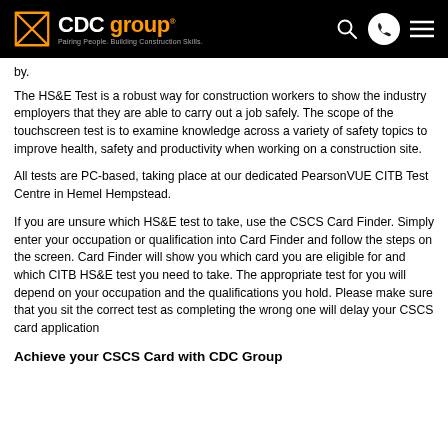CDC Group — Pairing People. Building Construction Skills.
by.
The HS&E Test is a robust way for construction workers to show the industry employers that they are able to carry out a job safely. The scope of the touchscreen test is to examine knowledge across a variety of safety topics to improve health, safety and productivity when working on a construction site.
All tests are PC-based, taking place at our dedicated PearsonVUE CITB Test Centre in Hemel Hempstead.
If you are unsure which HS&E test to take, use the CSCS Card Finder. Simply enter your occupation or qualification into Card Finder and follow the steps on the screen. Card Finder will show you which card you are eligible for and which CITB HS&E test you need to take. The appropriate test for you will depend on your occupation and the qualifications you hold. Please make sure that you sit the correct test as completing the wrong one will delay your CSCS card application
Achieve your CSCS Card with CDC Group